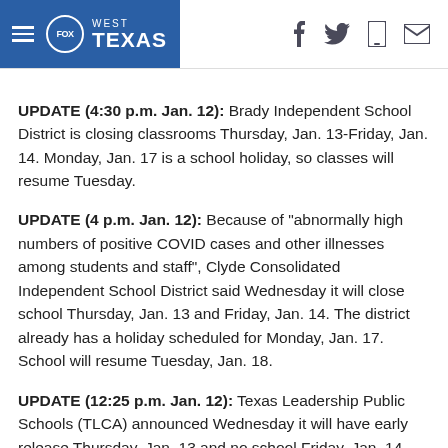FOX WEST TEXAS
UPDATE (4:30 p.m. Jan. 12): Brady Independent School District is closing classrooms Thursday, Jan. 13-Friday, Jan. 14. Monday, Jan. 17 is a school holiday, so classes will resume Tuesday.
UPDATE (4 p.m. Jan. 12): Because of "abnormally high numbers of positive COVID cases and other illnesses among students and staff", Clyde Consolidated Independent School District said Wednesday it will close school Thursday, Jan. 13 and Friday, Jan. 14. The district already has a holiday scheduled for Monday, Jan. 17. School will resume Tuesday, Jan. 18.
UPDATE (12:25 p.m. Jan. 12): Texas Leadership Public Schools (TLCA) announced Wednesday it will have early release Thursday, Jan. 13 and no school Friday, Jan. 14.
The district said in a letter to parents, staff and students the